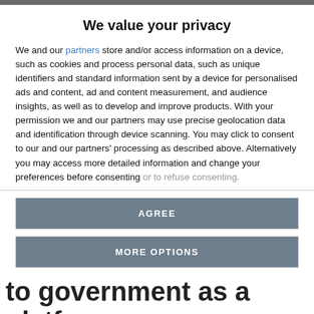We value your privacy
We and our partners store and/or access information on a device, such as cookies and process personal data, such as unique identifiers and standard information sent by a device for personalised ads and content, ad and content measurement, and audience insights, as well as to develop and improve products. With your permission we and our partners may use precise geolocation data and identification through device scanning. You may click to consent to our and our partners' processing as described above. Alternatively you may access more detailed information and change your preferences before consenting or to refuse consenting.
AGREE
MORE OPTIONS
to government as a platform